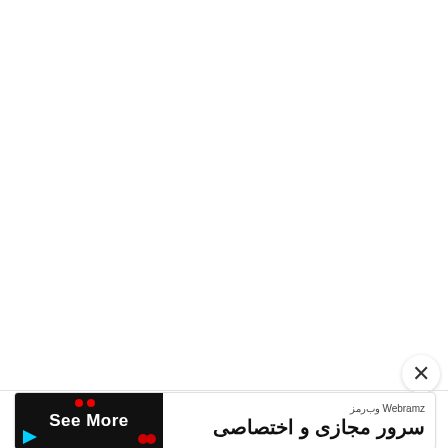[Figure (screenshot): Mostly blank white area representing a webpage or app screen with a close/dismiss button (×) in the lower right.]
× (close button)
[Figure (infographic): Advertisement banner at the bottom. Left side: black background with 'See More' in white bold text and a play icon. Right side: Persian/Farsi text reading 'Webramz وب رمز' as subtitle and 'سرور مجازی و اختصاصی' as main title (meaning 'Virtual and Dedicated Server').]